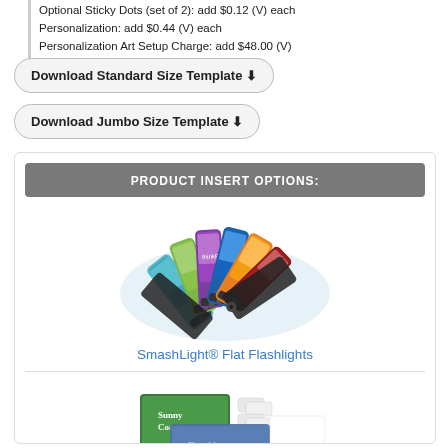Optional Sticky Dots (set of 2): add $0.12 (V) each
Personalization: add $0.44 (V) each
Personalization Art Setup Charge: add $48.00 (V)
Download Standard Size Template ⊕
Download Jumbo Size Template ⊕
PRODUCT INSERT OPTIONS:
[Figure (photo): Fan of SmashLight flat flashlights with branded designs in various colors including blue, purple, orange, and red, shown with carrying pouches]
SmashLight® Flat Flashlights
[Figure (photo): Branded gum/mint product sets with custom printed card inserts, shown partly visible at bottom of page]